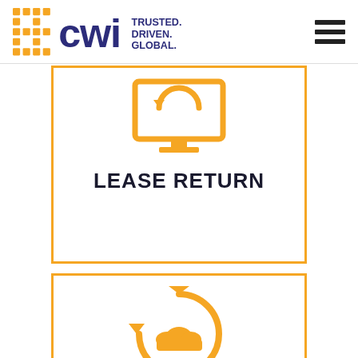[Figure (logo): CWI logo with orange dot-grid pattern and text 'TRUSTED. DRIVEN. GLOBAL.']
[Figure (illustration): Orange outline of a computer monitor with a circular return arrow icon inside, representing Lease Return.]
LEASE RETURN
[Figure (illustration): Orange circular arrow with a cloud/database icon in the center, partially visible at bottom of page.]